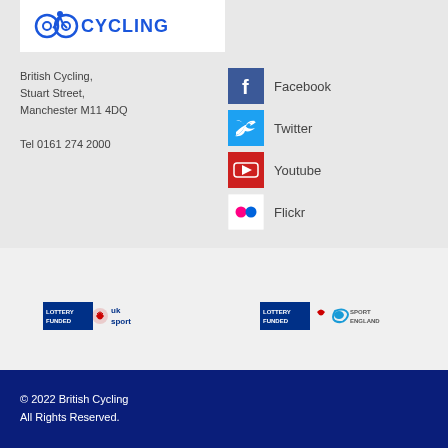[Figure (logo): British Cycling logo (partial, blue text)]
British Cycling,
Stuart Street,
Manchester M11 4DQ

Tel 0161 274 2000
[Figure (logo): Facebook social media icon (dark blue square with white f) and label 'Facebook']
[Figure (logo): Twitter social media icon (light blue square with white bird) and label 'Twitter']
[Figure (logo): Youtube social media icon (red square with white play button) and label 'Youtube']
[Figure (logo): Flickr social media icon (white square with pink/red dots) and label 'Flickr']
[Figure (logo): Lottery Funded UK Sport logo]
[Figure (logo): Lottery Funded Sport England logo]
© 2022 British Cycling
All Rights Reserved.